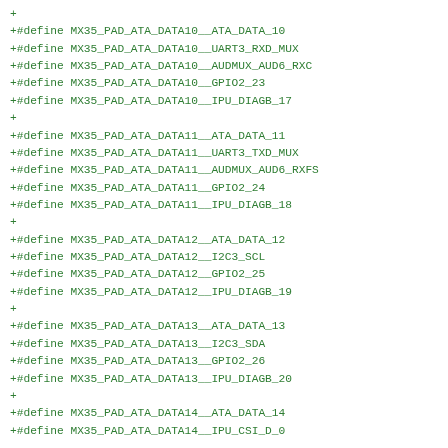+
+#define MX35_PAD_ATA_DATA10__ATA_DATA_10
+#define MX35_PAD_ATA_DATA10__UART3_RXD_MUX
+#define MX35_PAD_ATA_DATA10__AUDMUX_AUD6_RXC
+#define MX35_PAD_ATA_DATA10__GPIO2_23
+#define MX35_PAD_ATA_DATA10__IPU_DIAGB_17
+
+#define MX35_PAD_ATA_DATA11__ATA_DATA_11
+#define MX35_PAD_ATA_DATA11__UART3_TXD_MUX
+#define MX35_PAD_ATA_DATA11__AUDMUX_AUD6_RXFS
+#define MX35_PAD_ATA_DATA11__GPIO2_24
+#define MX35_PAD_ATA_DATA11__IPU_DIAGB_18
+
+#define MX35_PAD_ATA_DATA12__ATA_DATA_12
+#define MX35_PAD_ATA_DATA12__I2C3_SCL
+#define MX35_PAD_ATA_DATA12__GPIO2_25
+#define MX35_PAD_ATA_DATA12__IPU_DIAGB_19
+
+#define MX35_PAD_ATA_DATA13__ATA_DATA_13
+#define MX35_PAD_ATA_DATA13__I2C3_SDA
+#define MX35_PAD_ATA_DATA13__GPIO2_26
+#define MX35_PAD_ATA_DATA13__IPU_DIAGB_20
+
+#define MX35_PAD_ATA_DATA14__ATA_DATA_14
+#define MX35_PAD_ATA_DATA14__IPU_CSI_D_0